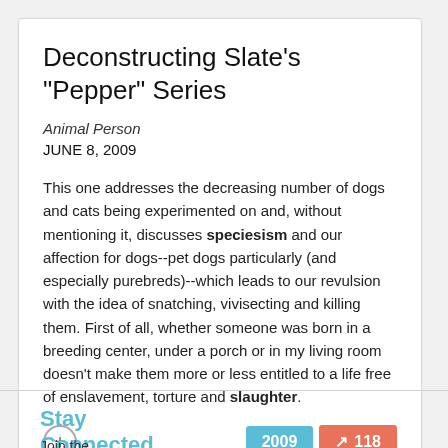Deconstructing Slate's "Pepper" Series
Animal Person
JUNE 8, 2009
This one addresses the decreasing number of dogs and cats being experimented on and, without mentioning it, discusses speciesism and our affection for dogs--pet dogs particularly (and especially purebreds)--which leads to our revulsion with the idea of snatching, vivisecting and killing them. First of all, whether someone was born in a breeding center, under a porch or in my living room doesn't make them more or less entitled to a life free of enslavement, torture and slaughter.
Stay Connected
Join the community of health and opinion from